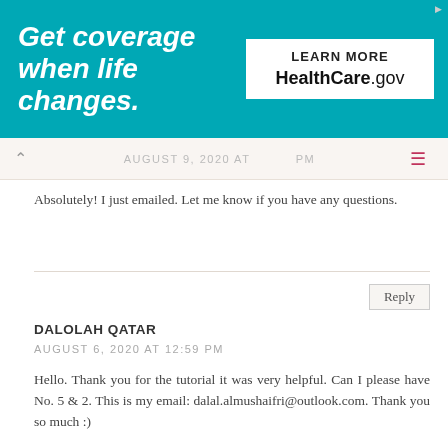[Figure (infographic): Healthcare.gov advertisement banner: teal background with white bold italic text 'Get coverage when life changes.' and a white box with 'LEARN MORE' and 'HealthCare.gov']
AUGUST 9, 2020 AT [time] PM
Absolutely! I just emailed. Let me know if you have any questions.
Reply
DALOLAH QATAR
AUGUST 6, 2020 AT 12:59 PM
Hello. Thank you for the tutorial it was very helpful. Can I please have No. 5 & 2. This is my email: dalal.almushaifri@outlook.com. Thank you so much :)
Reply
CRAFTIBILITIES
AUGUST 6, 2020 AT 3:41 PM